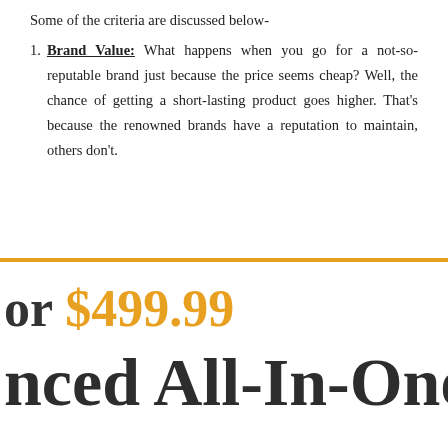Some of the criteria are discussed below-
Brand Value: What happens when you go for a not-so-reputable brand just because the price seems cheap? Well, the chance of getting a short-lasting product goes higher. That’s because the renowned brands have a reputation to maintain, others don’t.
or $499.99
nced All-In-One V